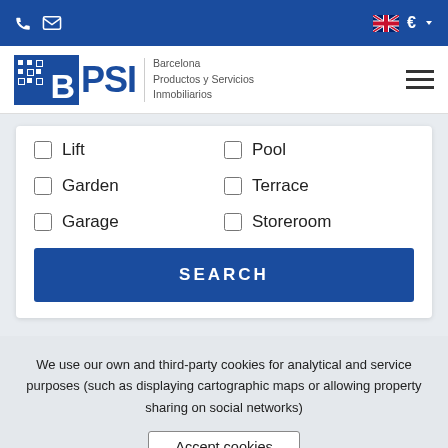BPSI Barcelona Productos y Servicios Inmobiliarios — top navigation bar with phone, mail, UK flag, and EUR currency icons
[Figure (logo): BPSI logo with blue box containing B with dot grid, followed by PSI text and Barcelona Productos y Servicios Inmobiliarios subtitle]
Lift
Pool
Garden
Terrace
Garage
Storeroom
SEARCH
We use our own and third-party cookies for analytical and service purposes (such as displaying cartographic maps or allowing property sharing on social networks)
Accept cookies
More Information